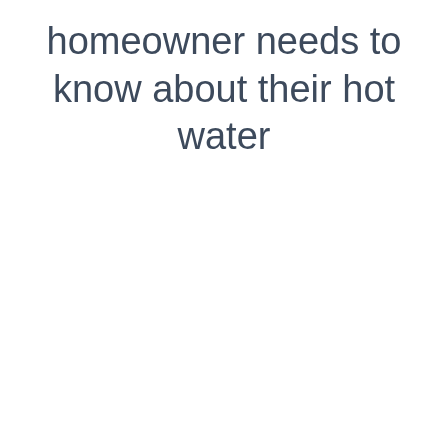homeowner needs to know about their hot water